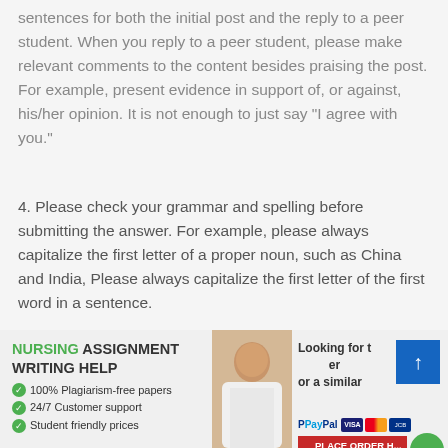sentences for both the initial post and the reply to a peer student. When you reply to a peer student, please make relevant comments to the content besides praising the post. For example, present evidence in support of, or against, his/her opinion. It is not enough to just say “I agree with you.”
4. Please check your grammar and spelling before submitting the answer. For example, please always capitalize the first letter of a proper noun, such as China and India, Please always capitalize the first letter of the first word in a sentence.
[Figure (infographic): Nursing Assignment Writing Help advertisement banner with photo of nursing professionals, checklist of services, and payment options]